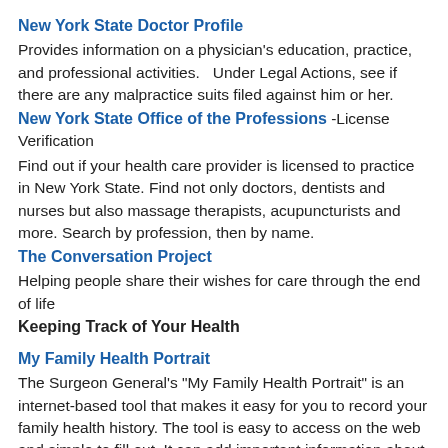New York State Doctor Profile
Provides information on a physician's education, practice, and professional activities.   Under Legal Actions, see if there are any malpractice suits filed against him or her.
New York State Office of the Professions -License Verification
Find out if your health care provider is licensed to practice in New York State. Find not only doctors, dentists and nurses but also massage therapists, acupuncturists and more. Search by profession, then by name.
The Conversation Project
Helping people share their wishes for care through the end of life
Keeping Track of Your Health
My Family Health Portrait
The Surgeon General's "My Family Health Portrait" is an internet-based tool that makes it easy for you to record your family health history. The tool is easy to access on the web and simple to fill out. It can add important information about how the clinic...